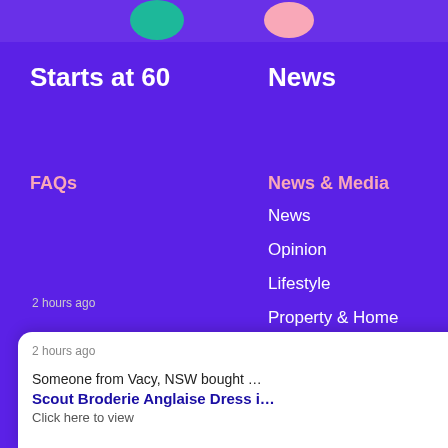[Figure (screenshot): Top strip with teal and pink blob shapes partially visible]
Starts at 60
News
FAQs
News & Media
News
Opinion
Lifestyle
Property & Home
Health
Money
Travel
2 hours ago
Someone from Vacy, NSW bought …
Scout Broderie Anglaise Dress i…
Click here to view